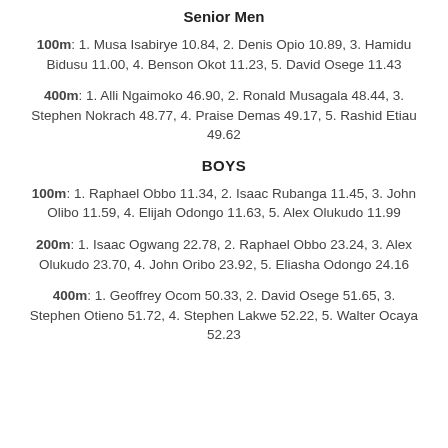Senior Men
100m: 1. Musa Isabirye 10.84, 2. Denis Opio 10.89, 3. Hamidu Bidusu 11.00, 4. Benson Okot 11.23, 5. David Osege 11.43
400m: 1. Alli Ngaimoko 46.90, 2. Ronald Musagala 48.44, 3. Stephen Nokrach 48.77, 4. Praise Demas 49.17, 5. Rashid Etiau 49.62
BOYS
100m: 1. Raphael Obbo 11.34, 2. Isaac Rubanga 11.45, 3. John Olibo 11.59, 4. Elijah Odongo 11.63, 5. Alex Olukudo 11.99
200m: 1. Isaac Ogwang 22.78, 2. Raphael Obbo 23.24, 3. Alex Olukudo 23.70, 4. John Oribo 23.92, 5. Eliasha Odongo 24.16
400m: 1. Geoffrey Ocom 50.33, 2. David Osege 51.65, 3. Stephen Otieno 51.72, 4. Stephen Lakwe 52.22, 5. Walter Ocaya 52.23